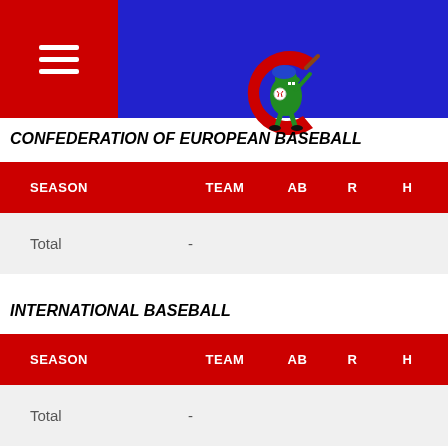Confederation of European Baseball
CONFEDERATION OF EUROPEAN BASEBALL
| SEASON | TEAM | AB | R | H | RBI | 2B | 3B | HR |
| --- | --- | --- | --- | --- | --- | --- | --- | --- |
| Total | - |  |  |  |  |  |  |  |
INTERNATIONAL BASEBALL
| SEASON | TEAM | AB | R | H | RBI | 2B | 3B | HR |
| --- | --- | --- | --- | --- | --- | --- | --- | --- |
| Total | - |  |  |  |  |  |  |  |